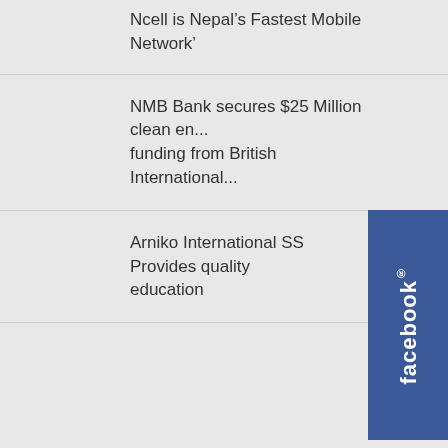Ncell is Nepal’s Fastest Mobile Network’
NMB Bank secures $25 Million clean en... funding from British International...
Arniko International SS Provides quality education
[Figure (logo): Facebook tab widget on the right side of the page, dark blue background with white text 'facebook' written vertically with registered trademark symbol]